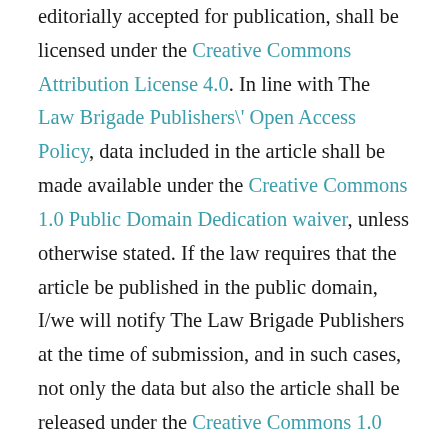editorially accepted for publication, shall be licensed under the Creative Commons Attribution License 4.0. In line with The Law Brigade Publishers\' Open Access Policy, data included in the article shall be made available under the Creative Commons 1.0 Public Domain Dedication waiver, unless otherwise stated. If the law requires that the article be published in the public domain, I/we will notify The Law Brigade Publishers at the time of submission, and in such cases, not only the data but also the article shall be released under the Creative Commons 1.0 Public Domain Dedication waiver. For the avoidance of doubt,